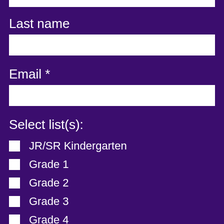Last name
Email *
Select list(s):
JR/SR Kindergarten
Grade 1
Grade 2
Grade 3
Grade 4
Grade 5
Grade 6